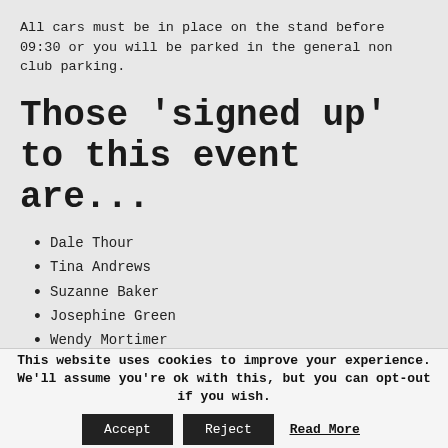All cars must be in place on the stand before 09:30 or you will be parked in the general non club parking.
Those 'signed up' to this event are...
Dale Thour
Tina Andrews
Suzanne Baker
Josephine Green
Wendy Mortimer
Darren Mcginty
Phil Alsford
Heidi Potter
This website uses cookies to improve your experience. We'll assume you're ok with this, but you can opt-out if you wish. Accept Reject Read More